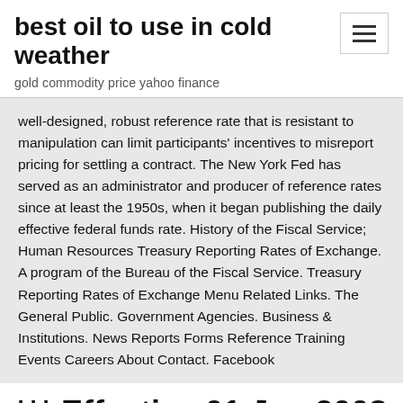best oil to use in cold weather
gold commodity price yahoo finance
well-designed, robust reference rate that is resistant to manipulation can limit participants' incentives to misreport pricing for settling a contract. The New York Fed has served as an administrator and producer of reference rates since at least the 1950s, when it began publishing the daily effective federal funds rate. History of the Fiscal Service; Human Resources Treasury Reporting Rates of Exchange. A program of the Bureau of the Fiscal Service. Treasury Reporting Rates of Exchange Menu Related Links. The General Public. Government Agencies. Business & Institutions. News Reports Forms Reference Training Events Careers About Contact. Facebook
*** Effective 01 Jan 2008 Venezuela's official exchange rate was